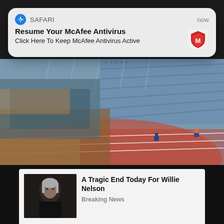[Figure (screenshot): Safari push notification popup for McAfee Antivirus with title 'Resume Your McAfee Antivirus' and subtitle 'Click Here To Keep McAfee Antivirus Active', timestamped 'now', with McAfee shield logo]
[Figure (photo): Aerial or wide-angle photo of a flooded athletic track/stadium with runners, brown floodwater on one side, red running track visible, stadium seats in background]
Cruise Ship Reality – Actual Pictures Will Make You Think Twice Before Booking
🔥 13,028
[Figure (photo): Thumbnail photo of an elderly man with gray hair in dark clothing]
A Tragic End Today For Willie Nelson
Breaking News